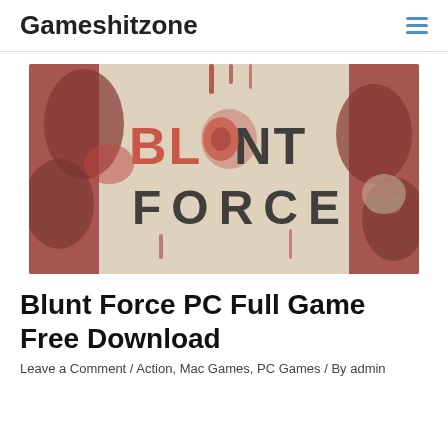Gameshitzone
[Figure (screenshot): Blunt Force game banner image showing the title 'BLUNT FORCE' in large bold letters on a grungy blood-splattered background with red and dark tones.]
Blunt Force PC Full Game Free Download
Leave a Comment / Action, Mac Games, PC Games / By admin